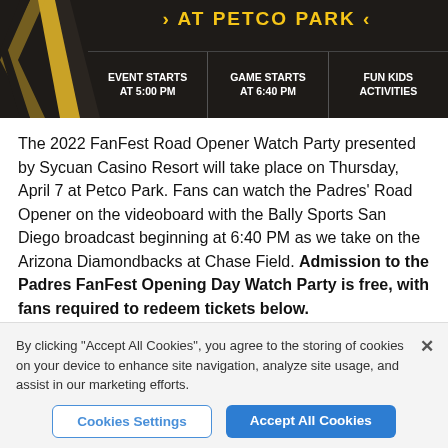[Figure (infographic): Dark banner with gold text reading '› AT PETCO PARK ‹', showing three info columns: EVENT STARTS AT 5:00 PM, GAME STARTS AT 6:40 PM, FUN KIDS ACTIVITIES. Yellow/black chevron shape on the left.]
The 2022 FanFest Road Opener Watch Party presented by Sycuan Casino Resort will take place on Thursday, April 7 at Petco Park. Fans can watch the Padres' Road Opener on the videoboard with the Bally Sports San Diego broadcast beginning at 6:40 PM as we take on the Arizona Diamondbacks at Chase Field. Admission to the Padres FanFest Opening Day Watch Party is free, with fans required to redeem tickets below.
4:30 PM: Padres Parking Lots Open
By clicking "Accept All Cookies", you agree to the storing of cookies on your device to enhance site navigation, analyze site usage, and assist in our marketing efforts.